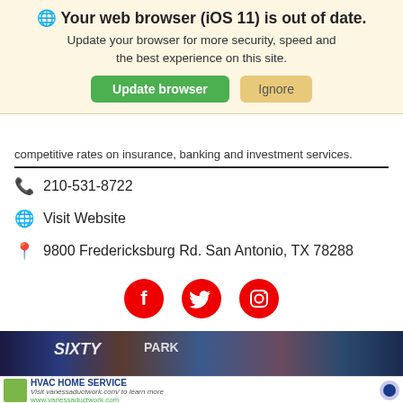[Figure (screenshot): Browser update warning banner with globe icon, bold title 'Your web browser (iOS 11) is out of date.', subtitle text, green 'Update browser' button and tan 'Ignore' button]
competitive rates on insurance, banking and investment services.
210-531-8722
Visit Website
9800 Fredericksburg Rd. San Antonio, TX 78288
[Figure (illustration): Three red circular social media icons: Facebook (f), Twitter (bird), Instagram (camera outline)]
[Figure (photo): Photo strip showing magazine covers and people on dark blue background]
[Figure (screenshot): Ad banner: HVAC HOME SERVICE, Visit vanessaductwork.com/ to learn more, www.vanessaductwork.com, with garden photo thumbnail and blue arrow button]